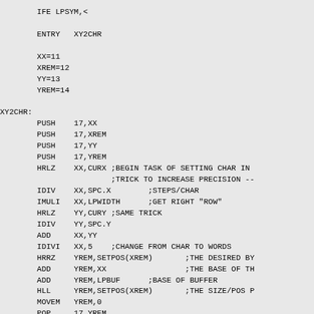IFE LPSYM,<

        ENTRY   XY2CHR

        XX=11
        XREM=12
        YY=13
        YREM=14

XY2CHR:
        PUSH    17,XX
        PUSH    17,XREM
        PUSH    17,YY
        PUSH    17,YREM
        HRLZ    XX,CURX ;BEGIN TASK OF SETTING CHAR IN 
                        ;TRICK TO INCREASE PRECISION --
        IDIV    XX,SPC.X        ;STEPS/CHAR
        IMULI   XX,LPWIDTH      ;GET RIGHT "ROW"
        HRLZ    YY,CURY ;SAME TRICK
        IDIV    YY,SPC.Y
        ADD     XX,YY
        IDIVI   XX,5    ;CHANGE FROM CHAR TO WORDS
        HRRZ    YREM,SETPOS(XREM)       ;THE DESIRED BY
        ADD     YREM,XX                 ;THE BASE OF TH
        ADD     YREM,LPBUF      ;BASE OF BUFFER
        HLL     YREM,SETPOS(XREM)       ;THE SIZE/POS P
        MOVEM   YREM,0
        POP     17,YREM
        POP     17,YY
        POP     17,XREM